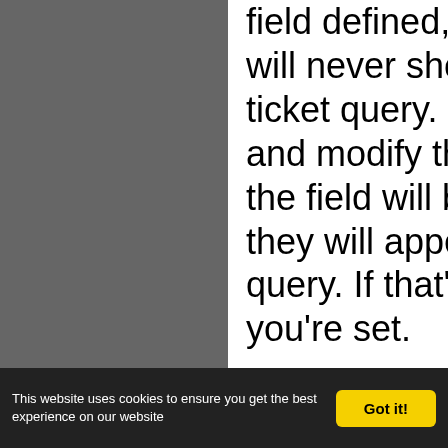field defined, and thus they will never show up on this ticket query. If you go back and modify those tickets, the field will be defined, and they will appear in the query. If that's all you want, you're set.

However, if you want to show all ticket entries (with progress defined and without), you need to use a JOIN for every custom field that is in the query.
This website uses cookies to ensure you get the best experience on our website